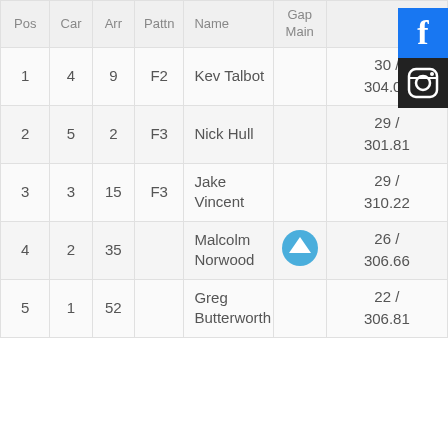| Pos | Car | Arr | Pattn | Name | Gap Main |  |
| --- | --- | --- | --- | --- | --- | --- |
| 1 | 4 | 9 | F2 | Kev Talbot |  | 30 / 304.08 |
| 2 | 5 | 2 | F3 | Nick Hull |  | 29 / 301.81 |
| 3 | 3 | 15 | F3 | Jake Vincent |  | 29 / 310.22 |
| 4 | 2 | 35 |  | Malcolm Norwood | ↑ | 26 / 306.66 |
| 5 | 1 | 52 |  | Greg Butterworth |  | 22 / 306.81 |